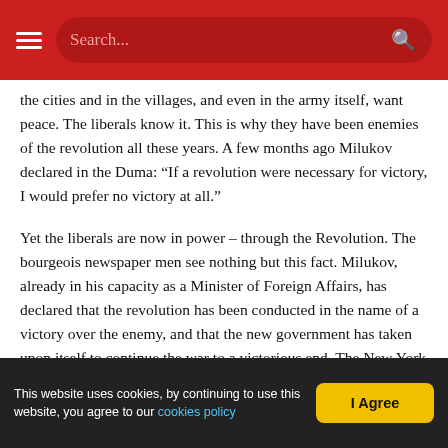Search...
the cities and in the villages, and even in the army itself, want peace. The liberals know it. This is why they have been enemies of the revolution all these years. A few months ago Milukov declared in the Duma: “If a revolution were necessary for victory, I would prefer no victory at all.”
Yet the liberals are now in power – through the Revolution. The bourgeois newspaper men see nothing but this fact. Milukov, already in his capacity as a Minister of Foreign Affairs, has declared that the revolution has been conducted in the name of a victory over the enemy, and that the new government has taken upon itself to continue the war to a victorious end. The New York Stock Exchange interpreted the Revolution in this specific sense. There are clever people both on the Stock Exchange and among the bourgeois newspaper men. Yet they are all amazingly stupid when they come to deal with mass-movements. They think that Milukov manages the revolution, in the same sense as they manage their banks or news offices. They see only the liberal governmental reflection of the unfolding events, they notice only the foam on the surface of the historical torrent.
The long pent-up dissatisfaction of the masses has burst forth so late, in
This website uses cookies, by continuing to use this website, you agree to our cookies policy | I Agree